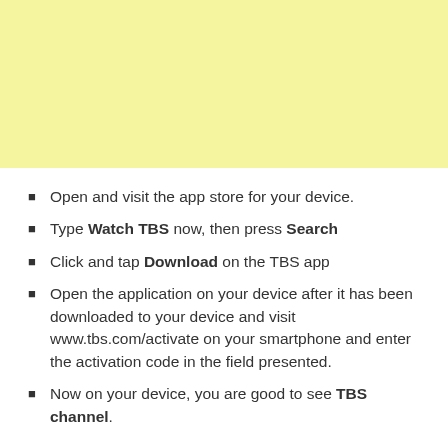[Figure (other): Light yellow rectangular banner/advertisement area at the top of the page]
Open and visit the app store for your device.
Type Watch TBS now, then press Search
Click and tap Download on the TBS app
Open the application on your device after it has been downloaded to your device and visit www.tbs.com/activate on your smartphone and enter the activation code in the field presented.
Now on your device, you are good to see TBS channel.